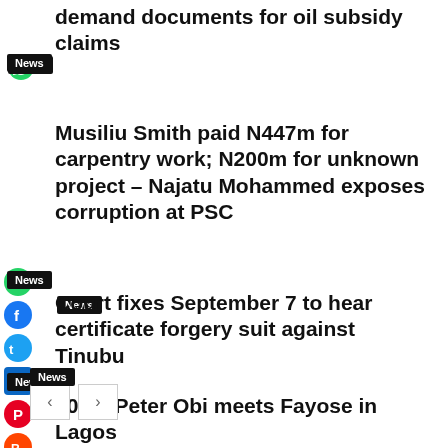demand documents for oil subsidy claims
News
Musiliu Smith paid N447m for carpentry work; N200m for unknown project – Najatu Mohammed exposes corruption at PSC
News
Court fixes September 7 to hear certificate forgery suit against Tinubu
News
2023: Peter Obi meets Fayose in Lagos
News